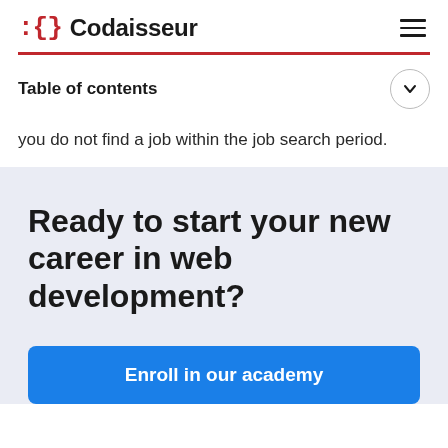Codaisseur
Table of contents
you do not find a job within the job search period.
Ready to start your new career in web development?
Enroll in our academy